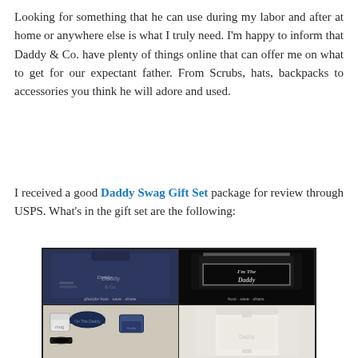Looking for something that he can use during my labor and after at home or anywhere else is what I truly need. I'm happy to inform that Daddy & Co. have plenty of things online that can offer me on what to get for our expectant father. From Scrubs, hats, backpacks to accessories you think he will adore and used.
I received a good Daddy Swag Gift Set package for review through USPS. What's in the gift set are the following:
[Figure (photo): A 2x2 grid of product photos showing the Daddy Swag Gift Set contents: top-left shows a navy blue scrub shirt laid on a beige surface, top-right shows a black box labeled 'I'm the Daddy', bottom-left shows accessories including a mug, navy hat, and sunglasses, bottom-right shows a white zip-up hoodie/jacket.]